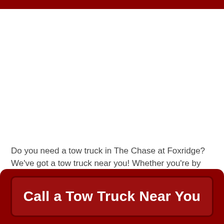Do you need a tow truck in The Chase at Foxridge? We've got a tow truck near you! Whether you're by Westview Mall or closer to
[Figure (other): Call a Tow Truck Near You — dark red call-to-action button at the bottom of the page]